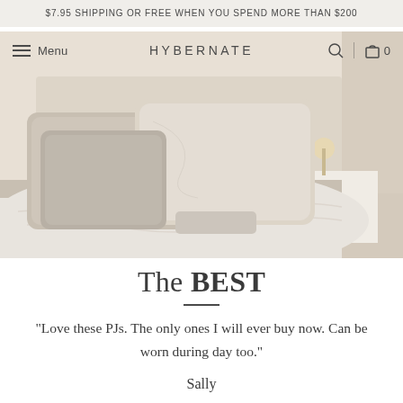$7.95 SHIPPING OR FREE WHEN YOU SPEND MORE THAN $200
[Figure (screenshot): Navigation bar with hamburger menu, Menu text, HYBERNATE logo, search icon, and bag icon with 0]
[Figure (photo): Bedroom scene with neutral-toned pillows and bedding on a bed, white headboard, wall lamp, and curtains in soft beige tones]
The BEST
"Love these PJs. The only ones I will ever buy now. Can be worn during day too."
Sally